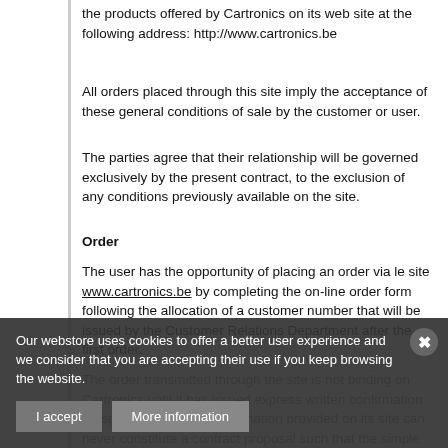the products offered by Cartronics on its web site at the following address: http://www.cartronics.be
All orders placed through this site imply the acceptance of these general conditions of sale by the customer or user.
The parties agree that their relationship will be governed exclusively by the present contract, to the exclusion of any conditions previously available on the site.
Order
The user has the opportunity of placing an order via le site www.cartronics.be by completing the on-line order form following the allocation of a customer number that will be issued by the Customer Relations Department after the first order.
The order transmitted through the site is not binding on Cartronics until it has issued express written confirmation (despatch email). The information provided on its site can never constitute a contract proposal such that the simple desire expressed by the purchaser to acquire the products can give rise in itself to a contract.
Any order amendments shall only take effect after written approval of Cartronics through a mail confirming despatch. They may only se... they may give rise to an increase in the prices charged.
No cancellation of a confirmed order, wholly or in part, can be accepted without the express written agreement of Cartronics...
Our webstore uses cookies to offer a better user experience and we consider that you are accepting their use if you keep browsing the website.